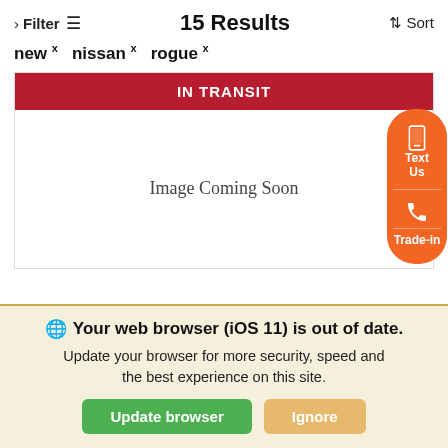> Filter  15 Results  ⇅ Sort
new ×   nissan ×   rogue ×
IN TRANSIT
[Figure (illustration): Image Coming Soon placeholder with orange floating Text Us and Trade-in buttons on right side]
Your web browser (iOS 11) is out of date. Update your browser for more security, speed and the best experience on this site.
Update browser   Ignore